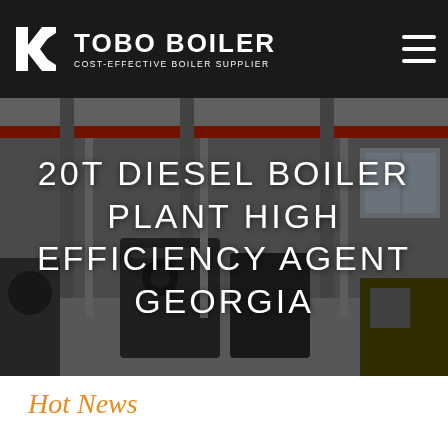TOBO BOILER — COST-EFFECTIVE BOILER SUPPLIER
[Figure (photo): Industrial boiler manufacturing facility interior with large equipment and overhead crane, with dark overlay]
20T DIESEL BOILER PLANT HIGH EFFICIENCY AGENT GEORGIA
Hot News